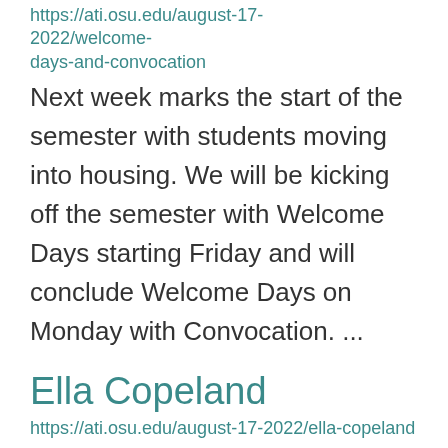https://ati.osu.edu/august-17-2022/welcome-days-and-convocation
Next week marks the start of the semester with students moving into housing. We will be kicking off the semester with Welcome Days starting Friday and will conclude Welcome Days on Monday with Convocation. ...
Ella Copeland
https://ati.osu.edu/august-17-2022/ella-copeland
Ella Copeland, who served as ATI's librarian for 22 years, has passed away. In addition to her library duties, Ella also served as the coordinator of alumni